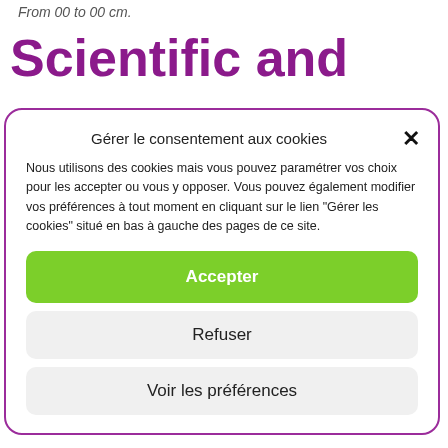From 00 to 00 cm.
Scientific and
Gérer le consentement aux cookies
Nous utilisons des cookies mais vous pouvez paramétrer vos choix pour les accepter ou vous y opposer. Vous pouvez également modifier vos préférences à tout moment en cliquant sur le lien "Gérer les cookies" situé en bas à gauche des pages de ce site.
Accepter
Refuser
Voir les préférences